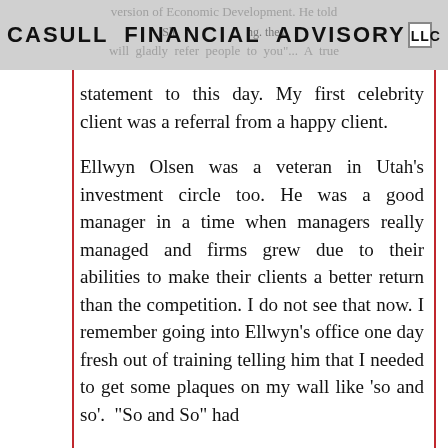version of Economic Development. He told CASULL FINANCIAL ADVISORY LLC will gladly refer people to you"... A true
statement to this day. My first celebrity client was a referral from a happy client.

Ellwyn Olsen was a veteran in Utah’s investment circle too. He was a good manager in a time when managers really managed and firms grew due to their abilities to make their clients a better return than the competition. I do not see that now. I remember going into Ellwyn’s office one day fresh out of training telling him that I needed to get some plaques on my wall like ‘so and so’. “So and So” had